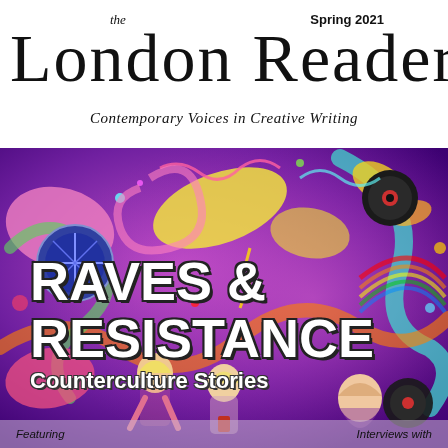the London Reader — Spring 2021
Contemporary Voices in Creative Writing
[Figure (illustration): Colorful psychedelic illustration with swirling abstract shapes, music elements like vinyl records, human figures dancing and celebrating, vibrant pinks, purples, yellows and greens in a counterculture rave scene]
RAVES & RESISTANCE
Counterculture Stories
Featuring
Interviews with